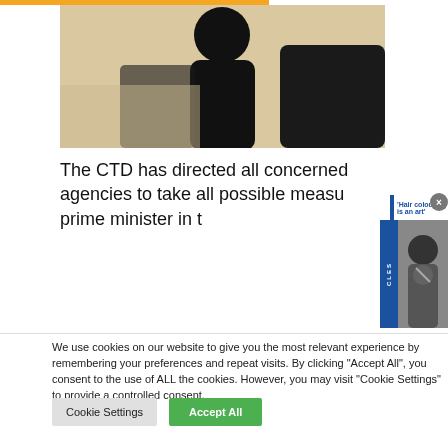[Figure (photo): Black silhouette of a person against a light background, upper portion of image]
The CTD has directed all concerned agencies to take all possible measures to protect the prime minister in t
[Figure (screenshot): Popup notification reading 'Hair colouring is an art' with a blue left border and a gray close button. Below is a blue 'ARTICLES' tab with a thumbnail of a person.]
We use cookies on our website to give you the most relevant experience by remembering your preferences and repeat visits. By clicking "Accept All", you consent to the use of ALL the cookies. However, you may visit "Cookie Settings" to provide a controlled consent.
Cookie Settings
Accept All